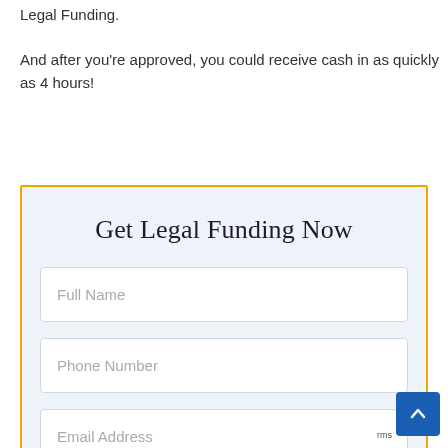Legal Funding.

And after you're approved, you could receive cash in as quickly as 4 hours!
Get Legal Funding Now
Full Name
Phone Number
Email Address